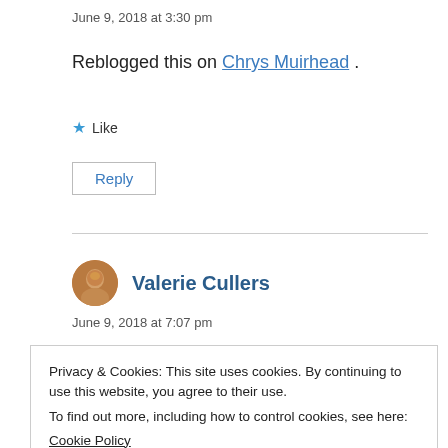June 9, 2018 at 3:30 pm
Reblogged this on Chrys Muirhead .
★ Like
Reply
Valerie Cullers
June 9, 2018 at 7:07 pm
Privacy & Cookies: This site uses cookies. By continuing to use this website, you agree to their use.
To find out more, including how to control cookies, see here:
Cookie Policy
Close and accept